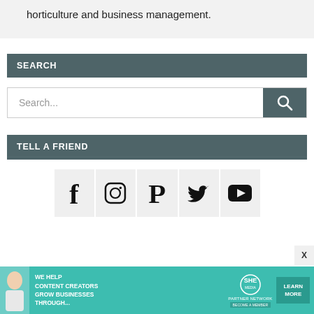horticulture and business management.
SEARCH
[Figure (screenshot): Search input field with a search button (magnifying glass icon) on a grey background]
TELL A FRIEND
[Figure (screenshot): Social media icons row: Facebook, Instagram, Pinterest, Twitter, YouTube on light grey backgrounds]
[Figure (infographic): Ad banner: SHE Media Partner Network — WE HELP CONTENT CREATORS GROW BUSINESSES THROUGH... LEARN MORE / BECOME A MEMBER]